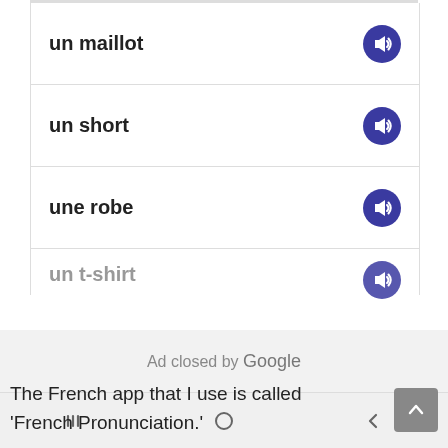un maillot
un short
une robe
un t-shirt
Ad closed by Google
[Figure (screenshot): Android navigation bar with recent apps, home, and back buttons]
The French app that I use is called ‘French Pronunciation.'